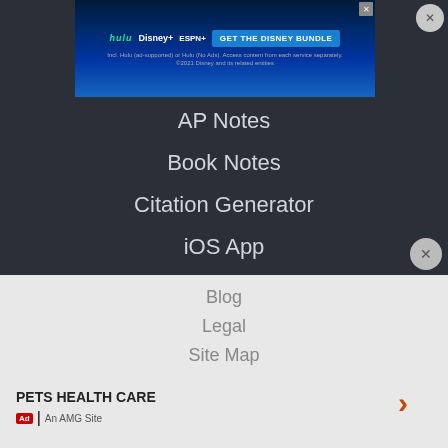[Figure (screenshot): Disney Bundle advertisement banner with Hulu, Disney+, ESPN+ logos and GET THE DISNEY BUNDLE button]
AP Notes
Book Notes
Citation Generator
iOS App
Android App
ABOUT
Company
Advertise
Jobs HIRING
Blog
Legal
Site Map
Student Brands
[Figure (screenshot): Pets Health Care advertisement with An AMG Site label and arrow]